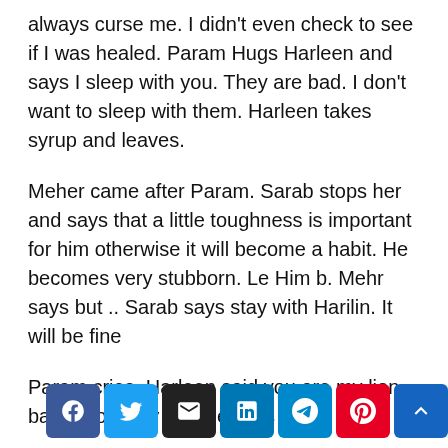always curse me. I didn't even check to see if I was healed. Param Hugs Harleen and says I sleep with you. They are bad. I don't want to sleep with them. Harleen takes syrup and leaves.
Meher came after Param. Sarab stops her and says that a little toughness is important for him otherwise it will become a habit. He becomes very stubborn. Le Him b. Mehr says but .. Sarab says stay with Harilin. It will be fine
Param cries. Harleen said you are my lion baby. Don't cry Robbie says that
[Figure (other): Social sharing buttons: Facebook, Twitter, Email, LinkedIn, Telegram, Pinterest, and a scroll-to-top button]